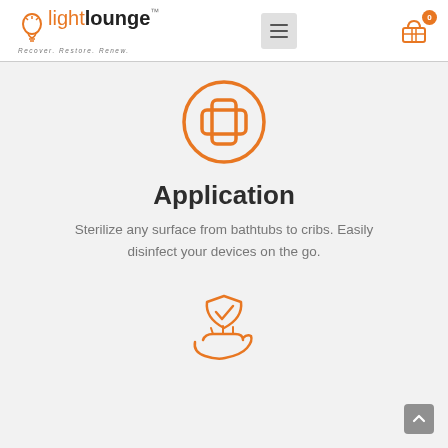lightlounge™ — Recover. Restore. Renew.
[Figure (illustration): Orange circle with a medical cross/plus sign icon]
Application
Sterilize any surface from bathtubs to cribs. Easily disinfect your devices on the go.
[Figure (illustration): Orange hand holding a shield with a checkmark icon]